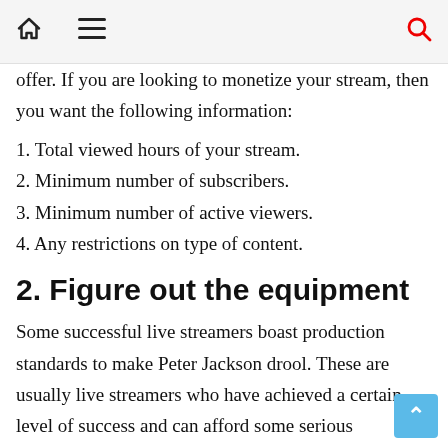🏠 ≡ 🔍
offer. If you are looking to monetize your stream, then you want the following information:
1. Total viewed hours of your stream.
2. Minimum number of subscribers.
3. Minimum number of active viewers.
4. Any restrictions on type of content.
2. Figure out the equipment
Some successful live streamers boast production standards to make Peter Jackson drool. These are usually live streamers who have achieved a certain level of success and can afford some serious